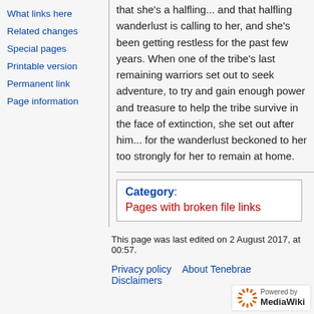What links here
Related changes
Special pages
Printable version
Permanent link
Page information
that she's a halfling... and that halfling wanderlust is calling to her, and she's been getting restless for the past few years. When one of the tribe's last remaining warriors set out to seek adventure, to try and gain enough power and treasure to help the tribe survive in the face of extinction, she set out after him... for the wanderlust beckoned to her too strongly for her to remain at home.
Category: Pages with broken file links
This page was last edited on 2 August 2017, at 00:57.
Privacy policy   About Tenebrae   Disclaimers